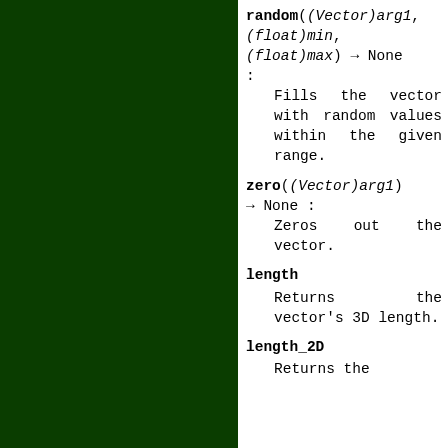random((Vector)arg1, (float)min, (float)max) → None :
Fills the vector with random values within the given range.
zero((Vector)arg1) → None :
Zeros out the vector.
length
Returns the vector's 3D length.
length_2D
Returns the